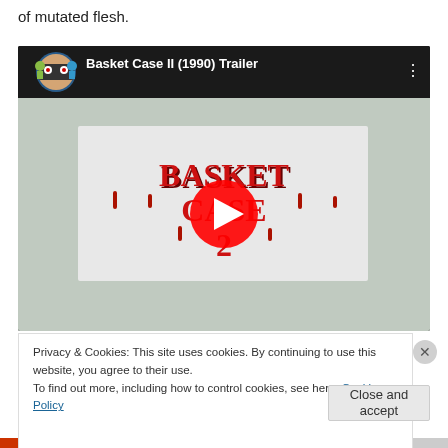of mutated flesh.
[Figure (screenshot): YouTube embedded video player showing 'Basket Case II (1990) Trailer' with a South Park-style avatar thumbnail, dripping horror-style title card in video area, and red play button overlay]
Privacy & Cookies: This site uses cookies. By continuing to use this website, you agree to their use.
To find out more, including how to control cookies, see here: Cookie Policy
Close and accept